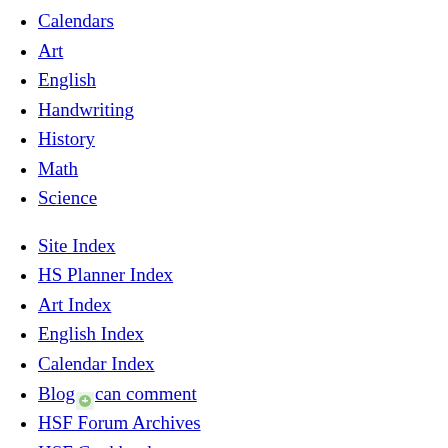Calendars
Art
English
Handwriting
History
Math
Science
Site Index
HS Planner Index
Art Index
English Index
Calendar Index
Blog can comment
HSF Forum Archives
HSF Cookbook
About DonnaYoung.org
Donna Young started this web site in 1998. She was teaching her children at home, had bought a new internet capable computer, and decided to put her homeschool and household files online. Aside from a few donated files, Donna makes all the content for donnayoung.org using several programs such as drawing programs and more.